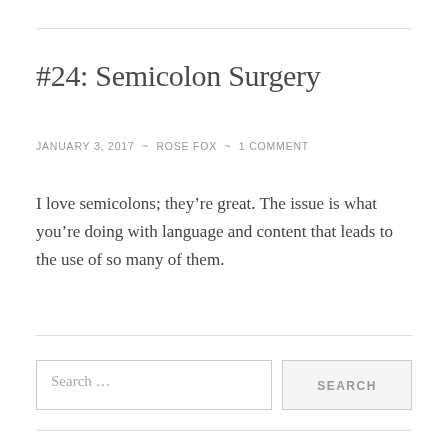#24: Semicolon Surgery
JANUARY 3, 2017  ~  ROSE FOX  ~  1 COMMENT
I love semicolons; they're great. The issue is what you're doing with language and content that leads to the use of so many of them.
Search …
SEARCH